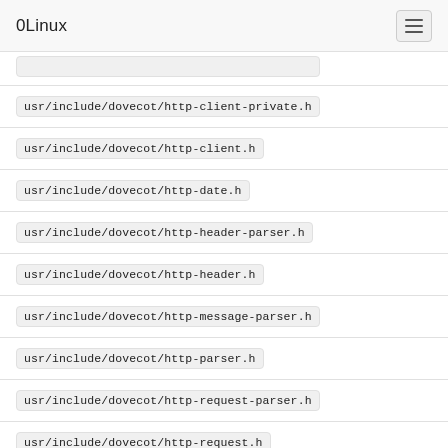0Linux
usr/include/dovecot/http-client-private.h
usr/include/dovecot/http-client.h
usr/include/dovecot/http-date.h
usr/include/dovecot/http-header-parser.h
usr/include/dovecot/http-header.h
usr/include/dovecot/http-message-parser.h
usr/include/dovecot/http-parser.h
usr/include/dovecot/http-request-parser.h
usr/include/dovecot/http-request.h
usr/include/dovecot/http-response-parser.h